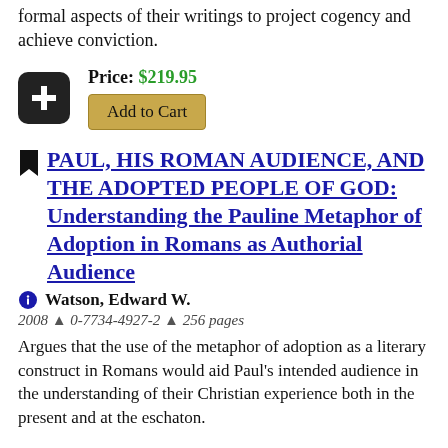formal aspects of their writings to project cogency and achieve conviction.
Price: $219.95
Add to Cart
PAUL, HIS ROMAN AUDIENCE, AND THE ADOPTED PEOPLE OF GOD: Understanding the Pauline Metaphor of Adoption in Romans as Authorial Audience
Watson, Edward W.
2008 ▲ 0-7734-4927-2 ▲ 256 pages
Argues that the use of the metaphor of adoption as a literary construct in Romans would aid Paul's intended audience in the understanding of their Christian experience both in the present and at the eschaton.